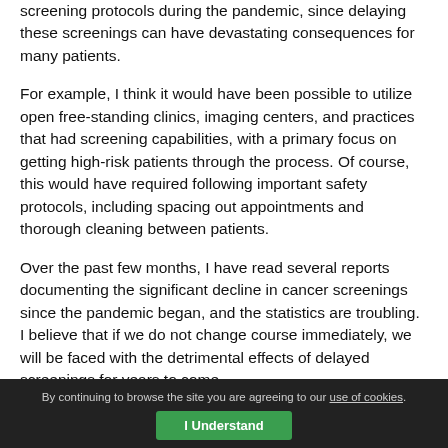screening protocols during the pandemic, since delaying these screenings can have devastating consequences for many patients.
For example, I think it would have been possible to utilize open free-standing clinics, imaging centers, and practices that had screening capabilities, with a primary focus on getting high-risk patients through the process. Of course, this would have required following important safety protocols, including spacing out appointments and thorough cleaning between patients.
Over the past few months, I have read several reports documenting the significant decline in cancer screenings since the pandemic began, and the statistics are troubling. I believe that if we do not change course immediately, we will be faced with the detrimental effects of delayed screenings for years to come.
By continuing to browse the site you are agreeing to our use of cookies. I Understand